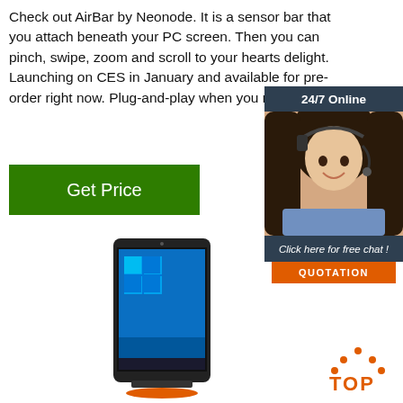Check out AirBar by Neonode. It is a sensor bar that you attach beneath your PC screen. Then you can pinch, swipe, zoom and scroll to your hearts delight. Launching on CES in January and available for pre-order right now. Plug-and-play when you need it!
[Figure (screenshot): Green 'Get Price' button]
[Figure (infographic): 24/7 Online chat widget with woman wearing headset, 'Click here for free chat!' and QUOTATION button]
[Figure (photo): Tablet device showing Windows 10 desktop on screen]
[Figure (logo): TOP back-to-top button with orange dots and text]